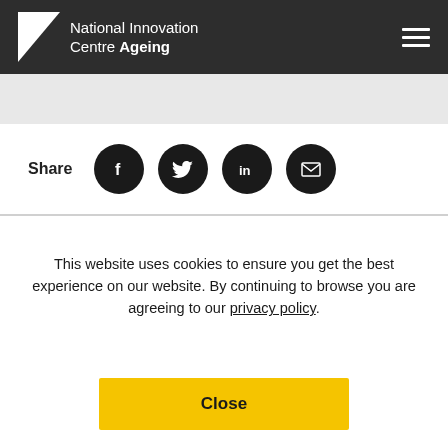[Figure (logo): National Innovation Centre Ageing logo with white triangle icon and text on dark background, with hamburger menu icon top right]
Share
[Figure (infographic): Four circular social share buttons: Facebook (f), Twitter (bird), LinkedIn (in), Email (envelope)]
This website uses cookies to ensure you get the best experience on our website. By continuing to browse you are agreeing to our privacy policy.
Close